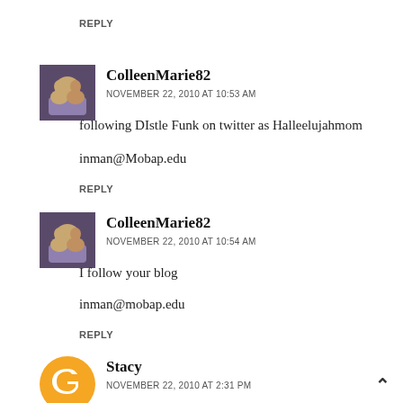REPLY
[Figure (photo): Avatar photo of ColleenMarie82 (two children)]
ColleenMarie82
NOVEMBER 22, 2010 AT 10:53 AM
following DIstle Funk on twitter as Halleelujahmom
inman@Mobap.edu
REPLY
[Figure (photo): Avatar photo of ColleenMarie82 (two children)]
ColleenMarie82
NOVEMBER 22, 2010 AT 10:54 AM
I follow your blog
inman@mobap.edu
REPLY
[Figure (illustration): Orange Blogger icon circle avatar]
Stacy
NOVEMBER 22, 2010 AT 2:31 PM